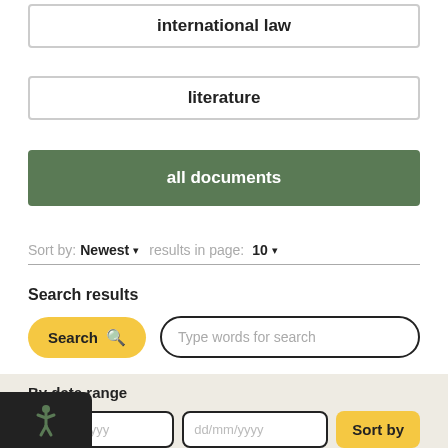international law
literature
all documents
Sort by: Newest results in page: 10
Search results
Search
Type words for search
By date range
dd/mm/yyyy
dd/mm/yyyy
Sort by